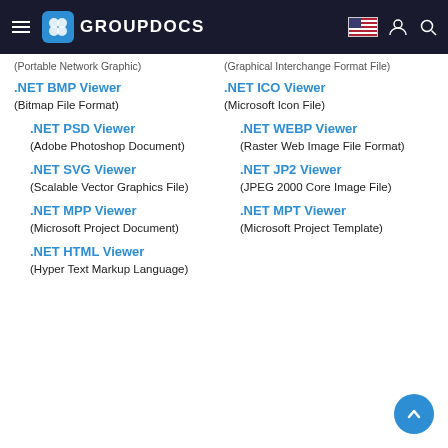GROUPDOCS
(Portable Network Graphic)    (Graphical Interchange Format File)
.NET BMP Viewer
(Bitmap File Format)
.NET ICO Viewer
(Microsoft Icon File)
.NET PSD Viewer
(Adobe Photoshop Document)
.NET WEBP Viewer
(Raster Web Image File Format)
.NET SVG Viewer
(Scalable Vector Graphics File)
.NET JP2 Viewer
(JPEG 2000 Core Image File)
.NET MPP Viewer
(Microsoft Project Document)
.NET MPT Viewer
(Microsoft Project Template)
.NET HTML Viewer
(Hyper Text Markup Language)